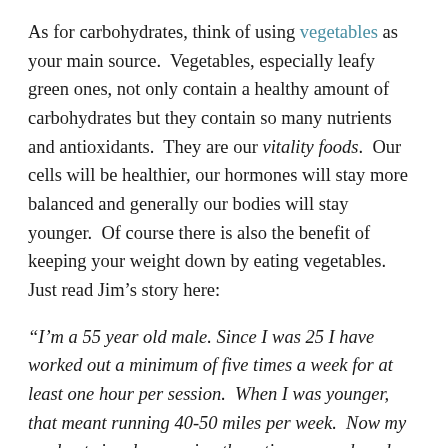As for carbohydrates, think of using vegetables as your main source.  Vegetables, especially leafy green ones, not only contain a healthy amount of carbohydrates but they contain so many nutrients and antioxidants.  They are our vitality foods.  Our cells will be healthier, our hormones will stay more balanced and generally our bodies will stay younger.  Of course there is also the benefit of keeping your weight down by eating vegetables.  Just read Jim's story here:
“I’m a 55 year old male. Since I was 25 I have worked out a minimum of five times a week for at least one hour per session.  When I was younger, that meant running 40-50 miles per week.  Now my workouts involve running three times a week and lifting weights 2-5